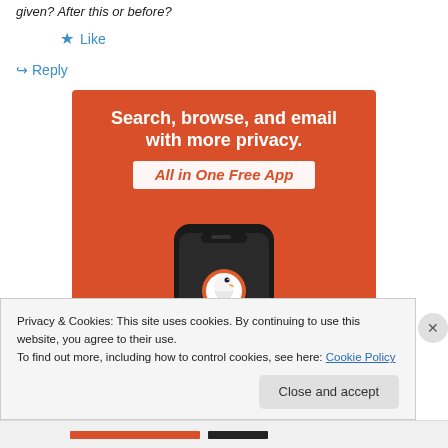given? After this or before?
★ Like
↪ Reply
[Figure (advertisement): DuckDuckGo advertisement banner on orange background. Text reads: 'Search, browse, and email with more privacy. All in One Free App' with a phone mockup showing the DuckDuckGo duck logo.]
Privacy & Cookies: This site uses cookies. By continuing to use this website, you agree to their use.
To find out more, including how to control cookies, see here: Cookie Policy
Close and accept